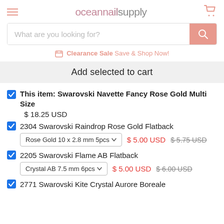oceannailsupply
What are you looking for?
Clearance Sale Save & Shop Now!
Add selected to cart
This item: Swarovski Navette Fancy Rose Gold Multi Size  $ 18.25 USD
2304 Swarovski Raindrop Rose Gold Flatback — Rose Gold 10 x 2.8 mm 5pcs — $ 5.00 USD  $ 5.75 USD
2205 Swarovski Flame AB Flatback — Crystal AB 7.5 mm 6pcs — $ 5.00 USD  $ 6.00 USD
2771 Swarovski Kite Crystal Aurore Boreale